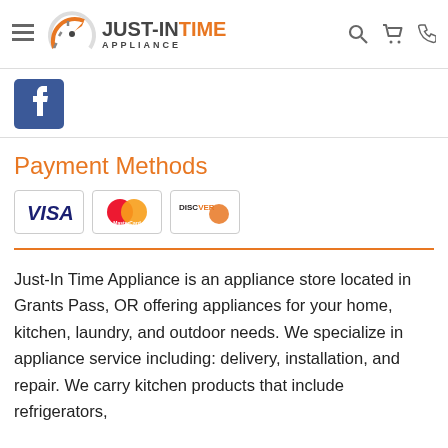Just-In Time Appliance — navigation header with logo, hamburger menu, search, cart, and phone icons
[Figure (logo): Facebook logo icon, blue background with white 'f']
Payment Methods
[Figure (infographic): Three payment card logos: VISA, MasterCard, Discover]
Just-In Time Appliance is an appliance store located in Grants Pass, OR offering appliances for your home, kitchen, laundry, and outdoor needs. We specialize in appliance service including: delivery, installation, and repair. We carry kitchen products that include refrigerators,